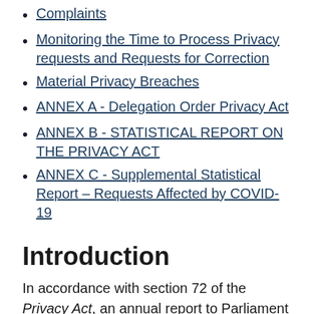Complaints
Monitoring the Time to Process Privacy requests and Requests for Correction
Material Privacy Breaches
ANNEX A - Delegation Order Privacy Act
ANNEX B - STATISTICAL REPORT ON THE PRIVACY ACT
ANNEX C - Supplemental Statistical Report – Requests Affected by COVID-19
Introduction
In accordance with section 72 of the Privacy Act, an annual report to Parliament on the